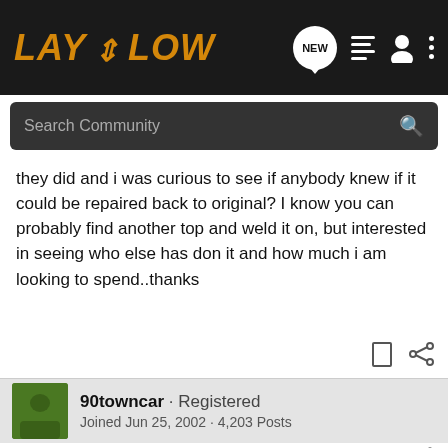[Figure (screenshot): Lay It Low forum website header with logo, search bar, and navigation icons on dark background]
they did and i was curious to see if anybody knew if it could be repaired back to original? I know you can probably find another top and weld it on, but interested in seeing who else has don it and how much i am looking to spend..thanks
90towncar · Registered
Joined Jun 25, 2002 · 4,203 Posts
#2 · Nov 18, 2008
Yeah it can be done. We do it all the time here at work with newer cars that have rolled over... As far as price I would expect to pay $800 to $2000 for somebody else to do it. You